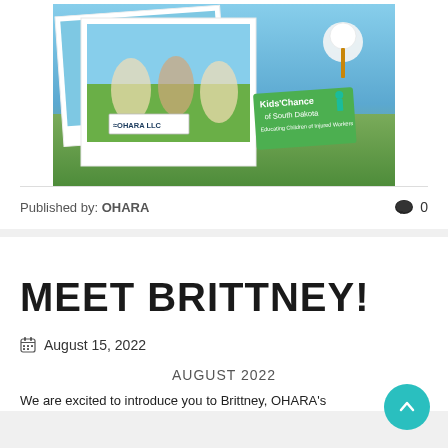[Figure (photo): Polaroid-style photos showing women holding an OHARA LLC sign at a golf charity event, with a Kids' Chance of South Dakota badge and a golf ball on a tee in the background.]
Published by: OHARA
🗨 0
MEET BRITTNEY!
August 15, 2022
AUGUST 2022
We are excited to introduce you to Brittney, OHARA's...